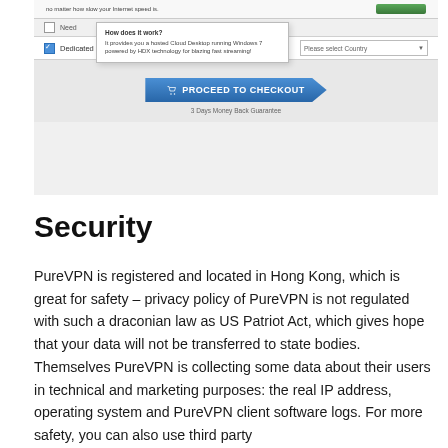[Figure (screenshot): Screenshot of a VPN checkout page showing a tooltip popup for 'Dedicated Streaming' option with a 'PROCEED TO CHECKOUT' button and '3 Days Money Back Guarantee' text.]
Security
PureVPN is registered and located in Hong Kong, which is great for safety – privacy policy of PureVPN is not regulated with such a draconian law as US Patriot Act, which gives hope that your data will not be transferred to state bodies. Themselves PureVPN is collecting some data about their users in technical and marketing purposes: the real IP address, operating system and PureVPN client software logs. For more safety, you can also use third party